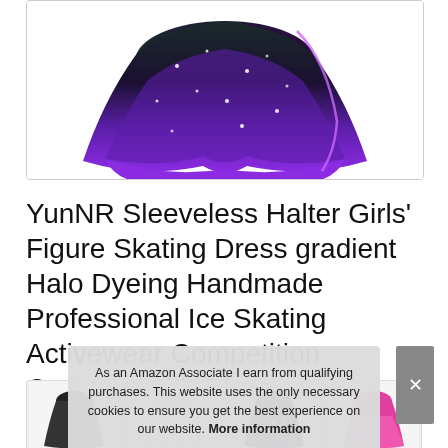[Figure (photo): Product photo of a black and purple gradient figure skating dress with sparkles and layered skirt, shown from waist down]
YunNR Sleeveless Halter Girls' Figure Skating Dress gradient Halo Dyeing Handmade Professional Ice Skating Activewear Competition Costume with Rh
[Figure (photo): Row of related product thumbnail images at the bottom of the page including figure skating dresses in various colors]
As an Amazon Associate I earn from qualifying purchases. This website uses the only necessary cookies to ensure you get the best experience on our website. More information